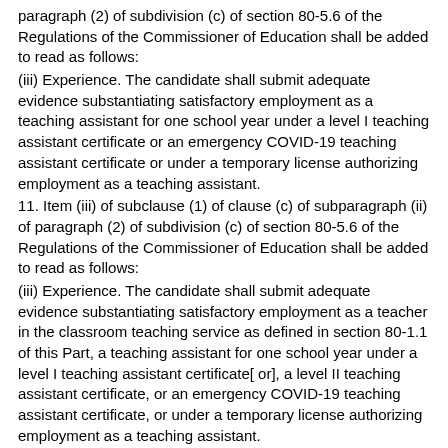paragraph (2) of subdivision (c) of section 80-5.6 of the Regulations of the Commissioner of Education shall be added to read as follows:
(iii) Experience. The candidate shall submit adequate evidence substantiating satisfactory employment as a teaching assistant for one school year under a level I teaching assistant certificate or an emergency COVID-19 teaching assistant certificate or under a temporary license authorizing employment as a teaching assistant.
11. Item (iii) of subclause (1) of clause (c) of subparagraph (ii) of paragraph (2) of subdivision (c) of section 80-5.6 of the Regulations of the Commissioner of Education shall be added to read as follows:
(iii) Experience. The candidate shall submit adequate evidence substantiating satisfactory employment as a teacher in the classroom teaching service as defined in section 80-1.1 of this Part, a teaching assistant for one school year under a level I teaching assistant certificate[ or], a level II teaching assistant certificate, or an emergency COVID-19 teaching assistant certificate, or under a temporary license authorizing employment as a teaching assistant.
12. Item (iii) of subclause (1) of clause (d) of subparagraph (ii) of paragraph (2) of subdivision (c) of section 80-5.6 of the